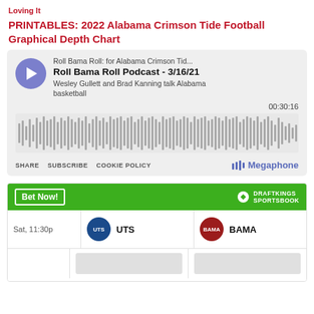Loving It
PRINTABLES: 2022 Alabama Crimson Tide Football Graphical Depth Chart
[Figure (screenshot): Embedded podcast player showing 'Roll Bama Roll Podcast - 3/16/21' by Roll Bama Roll: for Alabama Crimson Tid... with description 'Wesley Gullett and Brad Kanning talk Alabama basketball', duration 00:30:16, audio waveform visualization, and footer with SHARE, SUBSCRIBE, COOKIE POLICY links and Megaphone branding]
[Figure (screenshot): DraftKings Sportsbook betting widget with green header showing 'Bet Now!' button, showing a game: Sat, 11:30p with UTS vs BAMA teams]